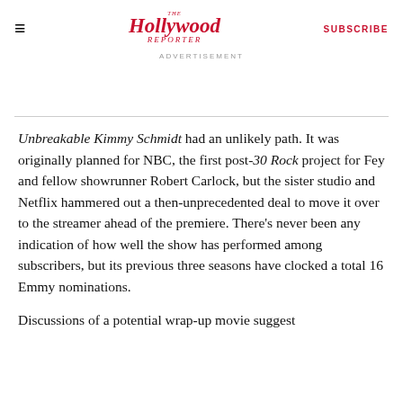The Hollywood Reporter — SUBSCRIBE
ADVERTISEMENT
Unbreakable Kimmy Schmidt had an unlikely path. It was originally planned for NBC, the first post-30 Rock project for Fey and fellow showrunner Robert Carlock, but the sister studio and Netflix hammered out a then-unprecedented deal to move it over to the streamer ahead of the premiere. There's never been any indication of how well the show has performed among subscribers, but its previous three seasons have clocked a total 16 Emmy nominations.
Discussions of a potential wrap-up movie suggest that its tenure on streaming may be coming to a close.